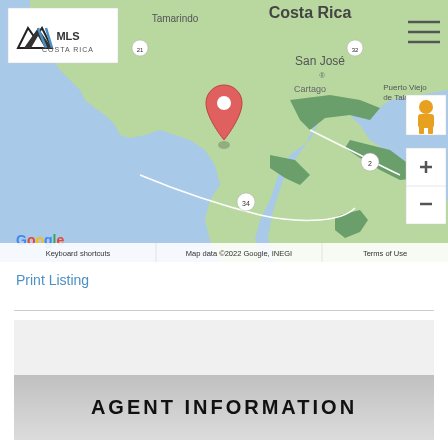[Figure (map): Google Map showing Costa Rica with a location pin near the Pacific coast south of San José. Visible cities include Tamarindo, San José, Cartago, Puerto Viejo de Talamanca. Road numbers 21, 32, 34, 2 visible. MLS Costa Rica logo in top left, hamburger menu top right, street view pegman and zoom controls on right side.]
Print Listing
AGENT INFORMATION